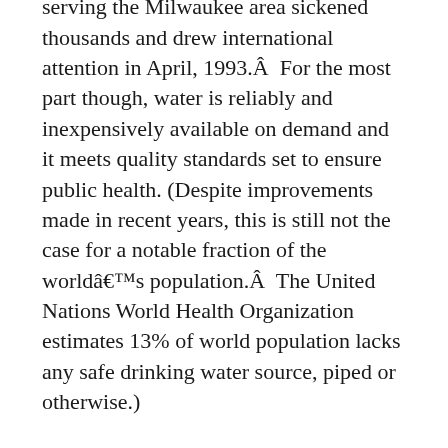contamination of two purification plants serving the Milwaukee area sickened thousands and drew international attention in April, 1993.Â  For the most part though, water is reliably and inexpensively available on demand and it meets quality standards set to ensure public health. (Despite improvements made in recent years, this is still not the case for a notable fraction of the worldâ€™s population.Â  The United Nations World Health Organization estimates 13% of world population lacks any safe drinking water source, piped or otherwise.)
Nevertheless, sales of bottled drinking water in the United States total about $11 billion annually and continue to grow.Â  People buy it because they think it is safer or tastes better than what comes from the tap.Â  They buy it